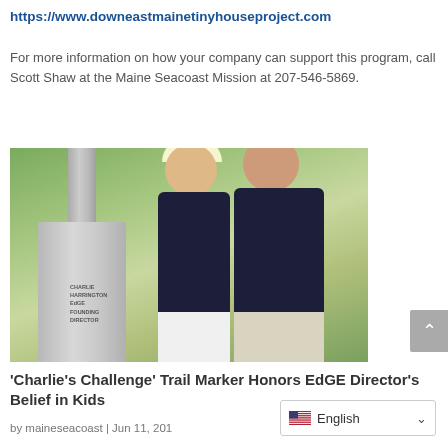https://www.downeastmainetinyhouseproject.com
For more information on how your company can support this program, call Scott Shaw at the Maine Seacoast Mission at 207-546-5869.
[Figure (photo): Two people (a woman in a dark sleeveless top and white pants, and a man in a dark jacket and khaki pants) standing next to a granite trail marker stone engraved with 'CHARLIE HARRINGTON EdGE FOUNDING DIRECTOR', surrounded by greenery.]
'Charlie's Challenge' Trail Marker Honors EdGE Director's Belief in Kids
by maineseacoast | Jun 11, 201...
English